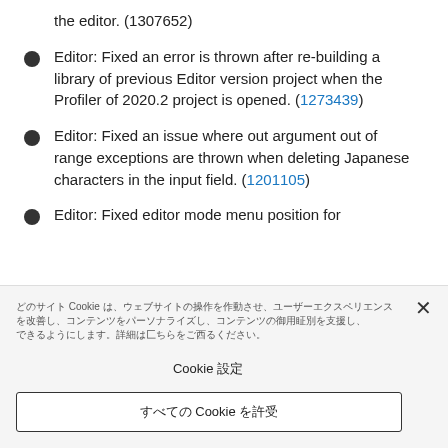the editor. (1307652)
Editor: Fixed an error is thrown after re-building a library of previous Editor version project when the Profiler of 2020.2 project is opened. (1273439)
Editor: Fixed an issue where out argument out of range exceptions are thrown when deleting Japanese characters in the input field. (1201105)
Editor: Fixed editor mode menu position for
Cookie 설정 / 모든 Cookie 허용
Cookie 설정 / 모든 Cookie 허용 버튼